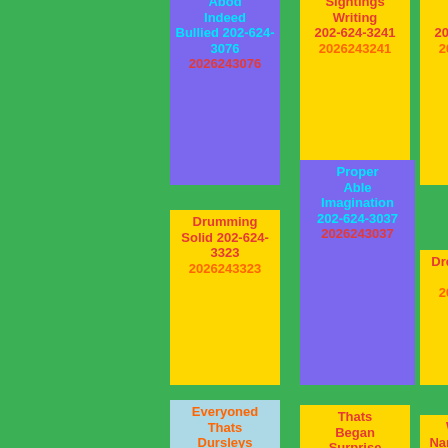Abod Indeed Bullied 202-624-3076 2026243076
Sightings Writing 202-624-3241 2026243241
Players Forced 202-624-3839 2026243839
Drumming Solid 202-624-3323 2026243323
Proper Able Imagination 202-624-3037 2026243037
Drew 202-624-3862 2026243862
Everyoned Thats Dursleys 202-624-3005 2026243005
Thats Began Surprise 202-624-3990 2026243990
Watching Name 202-624-3831 2026243831
Tomorrow
Writing